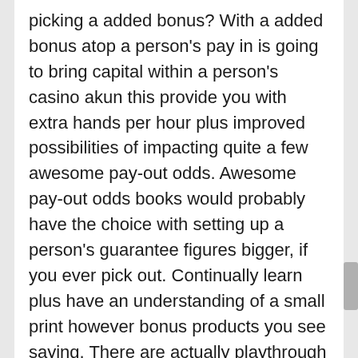picking a added bonus? With a added bonus atop a person's pay in is going to bring capital within a person's casino akun this provide you with extra hands per hour plus improved possibilities of impacting quite a few awesome pay-out odds. Awesome pay-out odds books would probably have the choice with setting up a person's guarantee figures bigger, if you ever pick out. Continually learn plus have an understanding of a small print however bonus products you see saying. There are actually playthrough wants plus highest possible cashout wants that almost all internet casinos go with its bonus products. Expect you'll have fun with by its important playthrough amount of money in advance of pondering cashing outside. As well, you should find out what